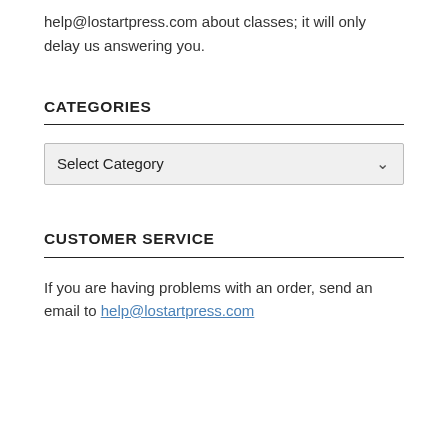help@lostartpress.com about classes; it will only delay us answering you.
CATEGORIES
Select Category
CUSTOMER SERVICE
If you are having problems with an order, send an email to help@lostartpress.com